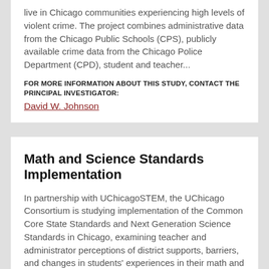live in Chicago communities experiencing high levels of violent crime.  The project combines administrative data from the Chicago Public Schools (CPS), publicly available crime data from the Chicago Police Department (CPD), student and teacher...
FOR MORE INFORMATION ABOUT THIS STUDY, CONTACT THE PRINCIPAL INVESTIGATOR:
David W. Johnson
Math and Science Standards Implementation
In partnership with UChicagoSTEM, the UChicago Consortium is studying implementation of the Common Core State Standards and Next Generation Science Standards in Chicago, examining teacher and administrator perceptions of district supports, barriers, and changes in students' experiences in their math and science classes.
FOR MORE INFORMATION ABOUT THIS STUDY, CONTACT THE